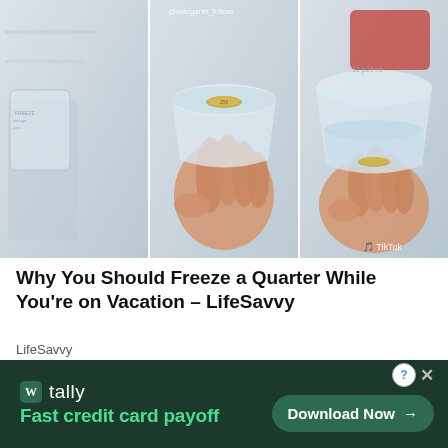[Figure (photo): Three-panel TikTok screenshot showing a freezer experiment: left panel shows freezer interior with a plastic bag, middle panel shows a hand holding a clear plastic cup with a coin (quarter) frozen in ice at the top, right panel shows the same cup with the coin now at the bottom under water indicating the ice melted. TikTok watermark visible in bottom right.]
Why You Should Freeze a Quarter While You're on Vacation – LifeSavvy
LifeSavvy
[Figure (screenshot): Advertisement banner for Tally app. Dark green background. Shows Tally logo (white 'T' in green rounded square) with 'tally' text, tagline 'Fast credit card payoff', and a 'Download Now →' button in darker green rounded rectangle. Close (X) and help (?) buttons in top right corner.]